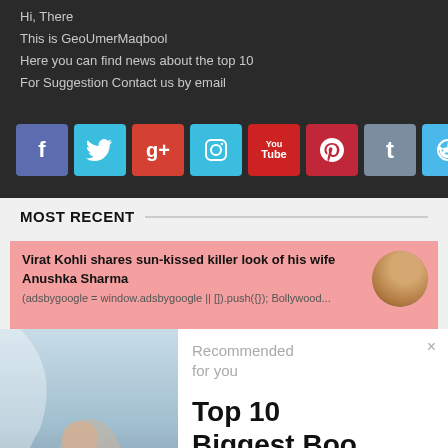Hi, There
This is GeoUmerMaqbool
Here you can find news about the top 10
For Suggestion Contact us by email
[Figure (infographic): Row of 8 social media icon buttons: Facebook (blue), Twitter (light blue), Google+ (red), Instagram (light blue), YouTube (red), Pinterest (dark red), Tumblr (slate blue), Reddit (light blue)]
MOST RECENT
Virat Kohli shares sun-kissed killer look of his wife Anushka Sharma
(adsbygoogle = window.adsbygoogle || []).push({}); Bollywood...
[Figure (photo): Woman leaning back outdoors, photo on left side of page]
Recommended for you
Top 10 Biggest Boo...
www.t10ranker.com